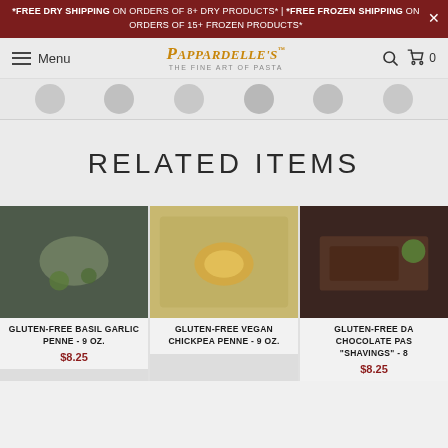*FREE DRY SHIPPING ON ORDERS OF 8+ DRY PRODUCTS* | *FREE FROZEN SHIPPING ON ORDERS OF 15+ FROZEN PRODUCTS*
[Figure (screenshot): Pappardelle's website navigation bar with hamburger menu, logo, search and cart icons]
[Figure (screenshot): Category icons row (circular thumbnail images)]
RELATED ITEMS
[Figure (photo): Gluten-Free Basil Garlic Penne product image - pasta dish on dark background]
GLUTEN-FREE BASIL GARLIC PENNE - 9 OZ.
$8.25
[Figure (photo): Gluten-Free Vegan Chickpea Penne product image - pasta in bowl]
GLUTEN-FREE VEGAN CHICKPEA PENNE - 9 OZ.
[Figure (photo): Gluten-Free Dark Chocolate Pasta Shavings product image]
GLUTEN-FREE DARK CHOCOLATE PASTA "SHAVINGS" - 8
$8.25